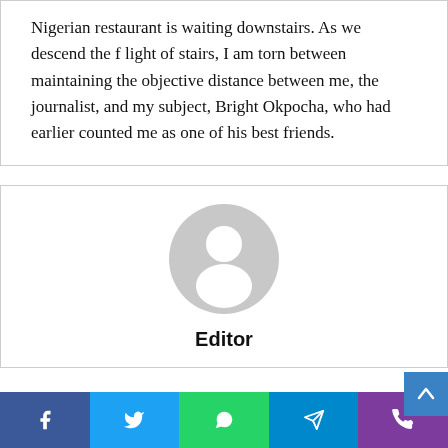Nigerian restaurant is waiting downstairs. As we descend the flight of stairs, I am torn between maintaining the objective distance between me, the journalist, and my subject, Bright Okpocha, who had earlier counted me as one of his best friends.
[Figure (illustration): Generic user avatar: a grey circle with a white silhouette of a person (head and shoulders)]
Editor
[Figure (infographic): Social media share bar with five buttons: Facebook (blue), Twitter (light blue), WhatsApp (green), Telegram (cyan-blue), Phone/Viber (purple). An up-arrow scroll button in blue appears at the right edge above the bar.]